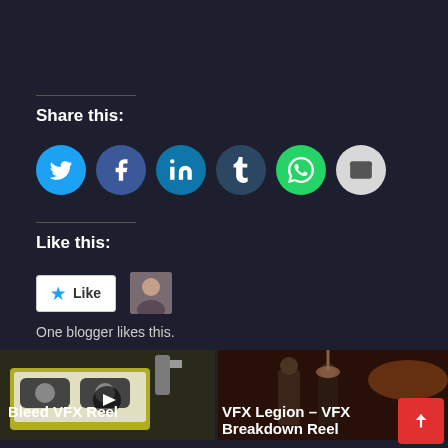Share this:
[Figure (infographic): Row of social sharing icon buttons: Twitter (blue), Facebook (dark blue), LinkedIn (teal-blue), Tumblr (dark navy), WhatsApp (green), Email (light gray)]
Like this:
[Figure (infographic): Like button with star icon and a small avatar thumbnail beside it]
One blogger likes this.
[Figure (photo): Thumbnail image of a yellow VHS/cassette tape with robotic elements - Bleed VFX Reel]
Bleed VFX Reel
[Figure (photo): Thumbnail image showing two figures in a dark cinematic scene - VFX Legion VFX Breakdown Reel]